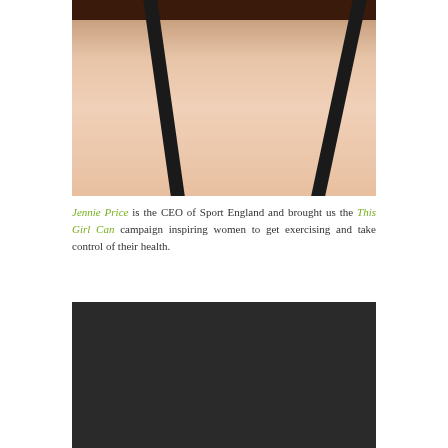[Figure (photo): Close-up photo of a woman's neck and upper chest area, wearing a black spaghetti-strap top, with a dark bokeh background]
Jennie Price is the CEO of Sport England and brought us the This Girl Can campaign inspiring women to get exercising and take control of their health.
[Figure (photo): Dark/black screenshot or video frame, mostly dark background]